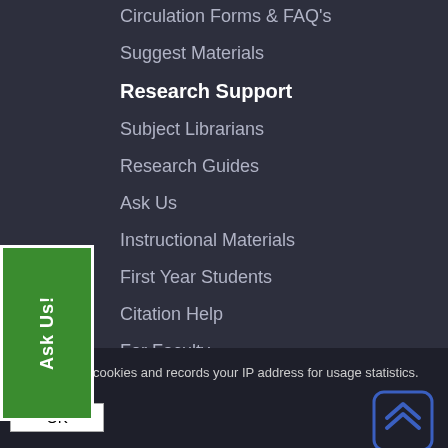Circulation Forms & FAQ's
Suggest Materials
Research Support
Subject Librarians
Research Guides
Ask Us
Instructional Materials
First Year Students
Citation Help
For Faculty
Library Technology
Find a Computer
[Figure (screenshot): Green 'Ask Us!' button on the left side, rotated vertically]
[Figure (screenshot): Blue rounded scroll-to-top button with double chevron arrows]
This site uses cookies and records your IP address for usage statistics. Read More
OK